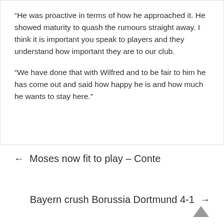“He was proactive in terms of how he approached it. He showed maturity to quash the rumours straight away. I think it is important you speak to players and they understand how important they are to our club.
“We have done that with Wilfred and to be fair to him he has come out and said how happy he is and how much he wants to stay here.”
←  Moses now fit to play – Conte
Bayern crush Borussia Dortmund 4-1  →